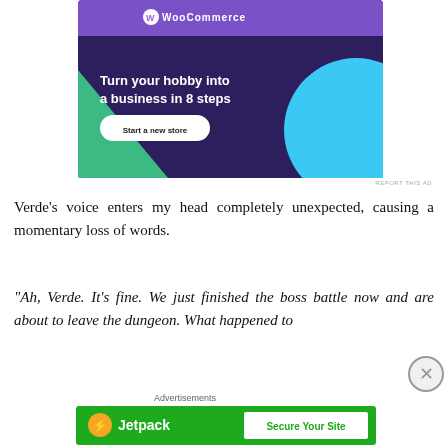[Figure (screenshot): WooCommerce advertisement banner with purple background showing 'Turn your hobby into a business in 8 steps' with 'Start a new store' button]
REPORT THIS AD
Verde's voice enters my head completely unexpected, causing a momentary loss of words.
“Ah, Verde. It’s fine. We just finished the boss battle now and are about to leave the dungeon. What happened to
Advertisements
[Figure (screenshot): Jetpack advertisement banner with green background showing Jetpack logo and 'Secure Your Site' button]